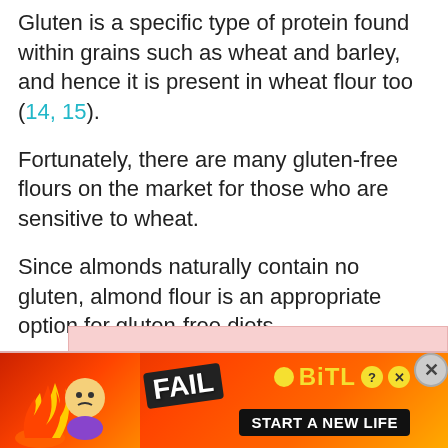Gluten is a specific type of protein found within grains such as wheat and barley, and hence it is present in wheat flour too (14, 15).
Fortunately, there are many gluten-free flours on the market for those who are sensitive to wheat.
Since almonds naturally contain no gluten, almond flour is an appropriate option for gluten-free diets.
[Figure (other): Advertisement banner for BitLife game showing 'FAIL' text, animated flames, a cartoon character, and 'START A NEW LIFE' text with BitLife logo and close button]